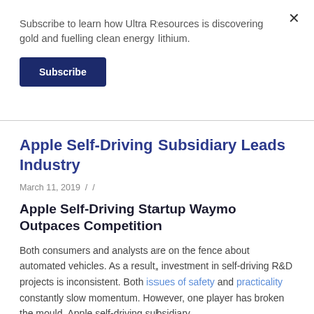Subscribe to learn how Ultra Resources is discovering gold and fuelling clean energy lithium.
Subscribe
Apple Self-Driving Subsidiary Leads Industry
March 11, 2019 / /
Apple Self-Driving Startup Waymo Outpaces Competition
Both consumers and analysts are on the fence about automated vehicles. As a result, investment in self-driving R&D projects is inconsistent. Both issues of safety and practicality constantly slow momentum. However, one player has broken the mould. Apple self-driving subsidiary